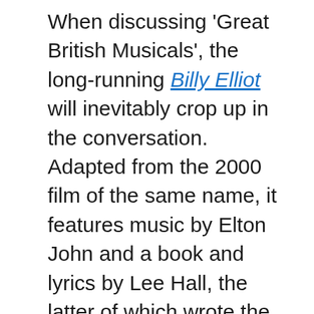When discussing 'Great British Musicals', the long-running Billy Elliot will inevitably crop up in the conversation. Adapted from the 2000 film of the same name, it features music by Elton John and a book and lyrics by Lee Hall, the latter of which wrote the original screenplay. Set against the backdrop of the 1984-85 UK miner's strike in County Durham, North-Eastern England, it is a story of one young boy's struggle against the odds to make his dreams come true as he trades boxing gloves for ballet shoes and follows his passion for dance. The musical premièred in the West End at the Victoria Palace Theatre in May 2005, which means that this year it will celebrate a decade of West End success. A five-time Olivier Award winner, it has been staged in many countries and was last year broadcast live to cinemas in the UK